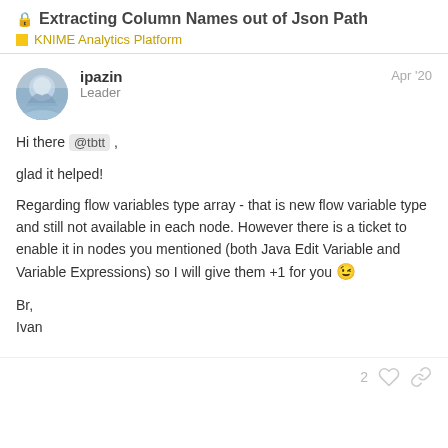🔒 Extracting Column Names out of Json Path
🟨 KNIME Analytics Platform
ipazin
Leader
Apr '20
Hi there @tbtt ,

glad it helped!

Regarding flow variables type array - that is new flow variable type and still not available in each node. However there is a ticket to enable it in nodes you mentioned (both Java Edit Variable and Variable Expressions) so I will give them +1 for you 😉

Br,
Ivan